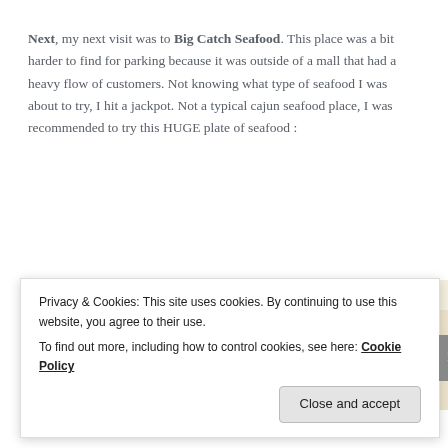Next, my next visit was to Big Catch Seafood. This place was a bit harder to find for parking because it was outside of a mall that had a heavy flow of customers. Not knowing what type of seafood I was about to try, I hit a jackpot. Not a typical cajun seafood place, I was recommended to try this HUGE plate of seafood :
[Figure (photo): Restaurant table setting with silverware/cutlery and a glass of water on a white tablecloth, warm beige tones]
Privacy & Cookies: This site uses cookies. By continuing to use this website, you agree to their use.
To find out more, including how to control cookies, see here: Cookie Policy
Close and accept